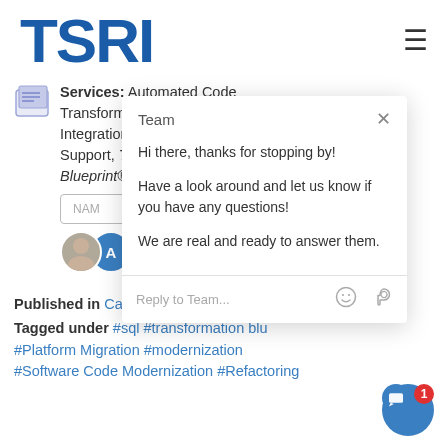[Figure (logo): TSRI logo in blue bold text, large sans-serif font]
Services: Automated Code Transformation, Integration and Support, Transformation Blueprint®, A...
[Figure (screenshot): Chat popup overlay from TSRI website. Header: 'Team' with X close button. Messages: 'Hi there, thanks for stopping by!', 'Have a look around and let us know if you have any questions!', 'We are real and ready to answer them.' Reply input field with emoji and attachment icons.]
Published in Case-Studies |
Tagged under #sql #transformation blu... #Platform Migration #modernization #Software Code Modernization #Refactoring